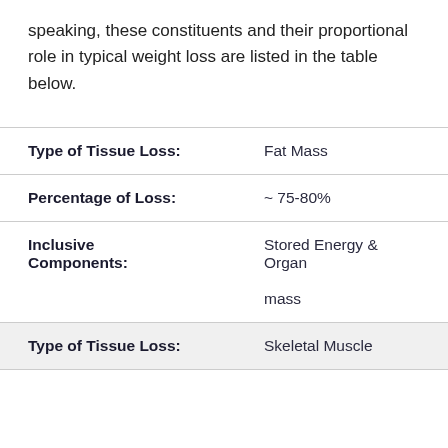speaking, these constituents and their proportional role in typical weight loss are listed in the table below.
| Type of Tissue Loss: | Fat Mass |
| --- | --- |
| Percentage of Loss: | ~ 75-80% |
| Inclusive Components: | Stored Energy & Organ mass |
| Type of Tissue Loss: | Skeletal Muscle |